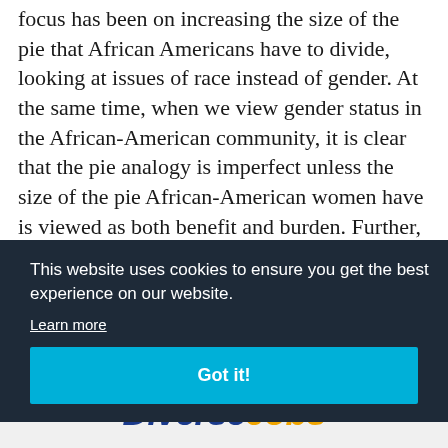focus has been on increasing the size of the pie that African Americans have to divide, looking at issues of race instead of gender. At the same time, when we view gender status in the African-American community, it is clear that the pie analogy is imperfect unless the size of the pie African-American women have is viewed as both benefit and burden. Further, the pie analogy is imperfect because it does
[Figure (other): Cookie consent dialog overlay with dark navy background, text reading 'This website uses cookies to ensure you get the best experience on our website.', a 'Learn more' underlined link, and a teal 'Got it!' button]
the ar nely
[Figure (logo): DiverseJobs logo at the bottom of the page — 'Diverse' in dark blue bold italic and 'Jobs' in orange bold italic]